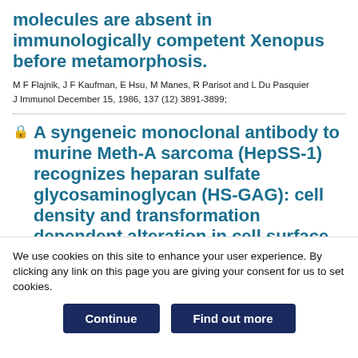molecules are absent in immunologically competent Xenopus before metamorphosis.
M F Flajnik, J F Kaufman, E Hsu, M Manes, R Parisot and L Du Pasquier
J Immunol December 15, 1986, 137 (12) 3891-3899;
A syngeneic monoclonal antibody to murine Meth-A sarcoma (HepSS-1) recognizes heparan sulfate glycosaminoglycan (HS-GAG): cell density and transformation dependent alteration in cell surface HS-GAG
We use cookies on this site to enhance your user experience. By clicking any link on this page you are giving your consent for us to set cookies.